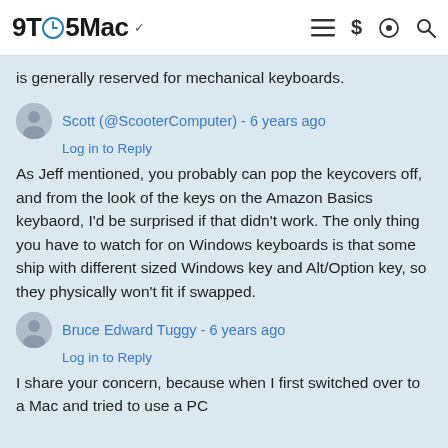9TO5Mac
is generally reserved for mechanical keyboards.
Scott (@ScooterComputer) - 6 years ago
Log in to Reply
As Jeff mentioned, you probably can pop the keycovers off, and from the look of the keys on the Amazon Basics keybaord, I'd be surprised if that didn't work. The only thing you have to watch for on Windows keyboards is that some ship with different sized Windows key and Alt/Option key, so they physically won't fit if swapped.
Bruce Edward Tuggy - 6 years ago
Log in to Reply
I share your concern, because when I first switched over to a Mac and tried to use a PC